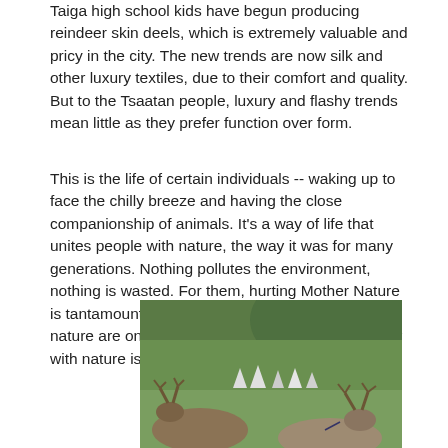Taiga high school kids have begun producing reindeer skin deels, which is extremely valuable and pricy in the city. The new trends are now silk and other luxury textiles, due to their comfort and quality. But to the Tsaatan people, luxury and flashy trends mean little as they prefer function over form.
This is the life of certain individuals -- waking up to face the chilly breeze and having the close companionship of animals. It's a way of life that unites people with nature, the way it was for many generations. Nothing pollutes the environment, nothing is wasted. For them, hurting Mother Nature is tantamount to flaying their body. Humans and nature are one to the Tsaatan people, and harmony with nature is their quintessential value.
[Figure (photo): Two reindeer with antlers resting on green grass in the foreground. In the background, a traditional Tsaatan camp with white teepee-style tents set against green hills and mountains under an overcast sky.]